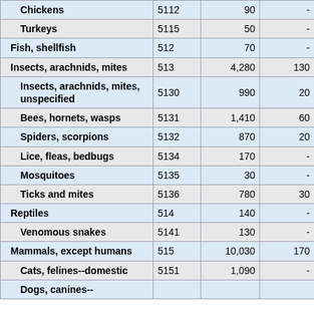|  |  |  |  |
| --- | --- | --- | --- |
| Chickens | 5112 | 90 | - |
| Turkeys | 5115 | 50 | - |
| Fish, shellfish | 512 | 70 | - |
| Insects, arachnids, mites | 513 | 4,280 | 130 |
| Insects, arachnids, mites, unspecified | 5130 | 990 | 20 |
| Bees, hornets, wasps | 5131 | 1,410 | 60 |
| Spiders, scorpions | 5132 | 870 | 20 |
| Lice, fleas, bedbugs | 5134 | 170 | - |
| Mosquitoes | 5135 | 30 | - |
| Ticks and mites | 5136 | 780 | 30 |
| Reptiles | 514 | 140 | - |
| Venomous snakes | 5141 | 130 | - |
| Mammals, except humans | 515 | 10,030 | 170 |
| Cats, felines--domestic | 5151 | 1,090 | - |
| Dogs, canines-- |  |  |  |